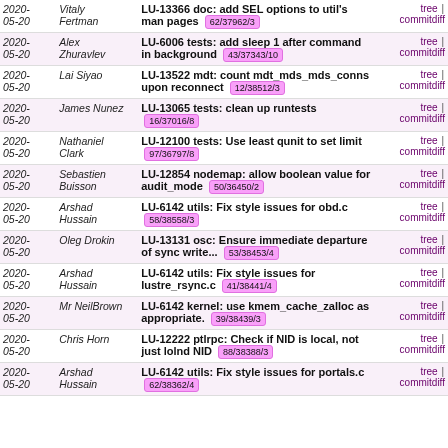| Date | Author | Commit Message | Links |
| --- | --- | --- | --- |
| 2020-05-20 | Vitaly Fertman | LU-13366 doc: add SEL options to util's man pages 62/37962/3 | tree | commitdiff |
| 2020-05-20 | Alex Zhuravlev | LU-6006 tests: add sleep 1 after command in background 43/37343/10 | tree | commitdiff |
| 2020-05-20 | Lai Siyao | LU-13522 mdt: count mdt_mds_mds_conns upon reconnect 12/38512/3 | tree | commitdiff |
| 2020-05-20 | James Nunez | LU-13065 tests: clean up runtests 16/37016/8 | tree | commitdiff |
| 2020-05-20 | Nathaniel Clark | LU-12100 tests: Use least qunit to set limit 97/36797/8 | tree | commitdiff |
| 2020-05-20 | Sebastien Buisson | LU-12854 nodemap: allow boolean value for audit_mode 50/36450/2 | tree | commitdiff |
| 2020-05-20 | Arshad Hussain | LU-6142 utils: Fix style issues for obd.c 58/38558/3 | tree | commitdiff |
| 2020-05-20 | Oleg Drokin | LU-13131 osc: Ensure immediate departure of sync write... 53/38453/4 | tree | commitdiff |
| 2020-05-20 | Arshad Hussain | LU-6142 utils: Fix style issues for lustre_rsync.c 41/38441/4 | tree | commitdiff |
| 2020-05-20 | Mr NeilBrown | LU-6142 kernel: use kmem_cache_zalloc as appropriate. 39/38439/3 | tree | commitdiff |
| 2020-05-20 | Chris Horn | LU-12222 ptlrpc: Check if NID is local, not just lolnd NID 88/38388/3 | tree | commitdiff |
| 2020-05-20 | Arshad Hussain | LU-6142 utils: Fix style issues for portals.c 62/38362/4 | tree | commitdiff |